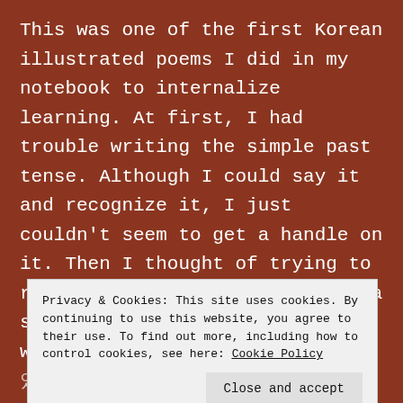This was one of the first Korean illustrated poems I did in my notebook to internalize learning. At first, I had trouble writing the simple past tense. Although I could say it and recognize it, I just couldn't seem to get a handle on it. Then I thought of trying to recall a real experience using a simple verb. I remembered walking outside the day earlier and
Privacy & Cookies: This site uses cookies. By continuing to use this website, you agree to their use. To find out more, including how to control cookies, see here: Cookie Policy
Close and accept
았(na). by looking at the